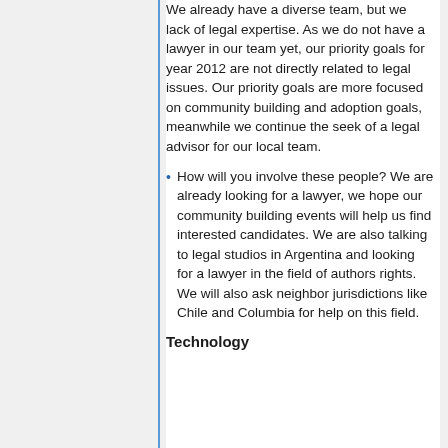We already have a diverse team, but we lack of legal expertise. As we do not have a lawyer in our team yet, our priority goals for year 2012 are not directly related to legal issues. Our priority goals are more focused on community building and adoption goals, meanwhile we continue the seek of a legal advisor for our local team.
How will you involve these people? We are already looking for a lawyer, we hope our community building events will help us find interested candidates. We are also talking to legal studios in Argentina and looking for a lawyer in the field of authors rights. We will also ask neighbor jurisdictions like Chile and Columbia for help on this field.
Technology